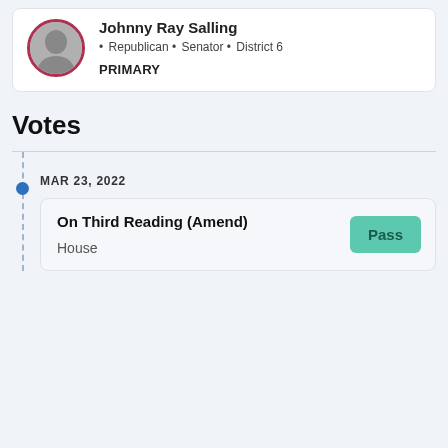Johnny Ray Salling
Republican · Senator · District 6
PRIMARY
Votes
MAR 23, 2022
On Third Reading (Amend)
House
Pass